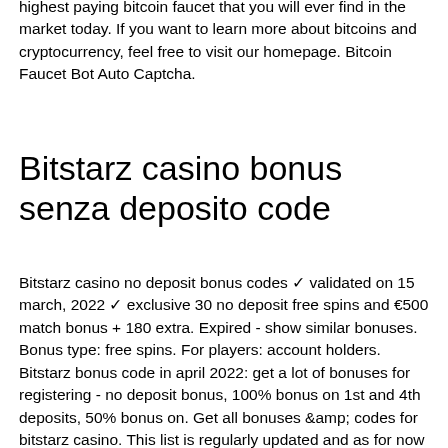highest paying bitcoin faucet that you will ever find in the market today. If you want to learn more about bitcoins and cryptocurrency, feel free to visit our homepage. Bitcoin Faucet Bot Auto Captcha.
Bitstarz casino bonus senza deposito code
Bitstarz casino no deposit bonus codes ✓ validated on 15 march, 2022 ✓ exclusive 30 no deposit free spins and €500 match bonus + 180 extra. Expired - show similar bonuses. Bonus type: free spins. For players: account holders. Bitstarz bonus code in april 2022: get a lot of bonuses for registering - no deposit bonus, 100% bonus on 1st and 4th deposits, 50% bonus on. Get all bonuses &amp;amp; codes for bitstarz casino. This list is regularly updated and as for now it contains 15 bonuses. Last update 8th apr 2022. Bitstarz casino no deposit bonus